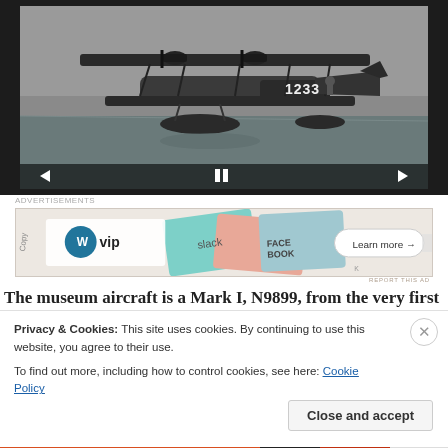[Figure (photo): Black and white photograph of a biplane seaplane (flying boat) with number 1233 visible, shown in flight over water. Video player controls visible at bottom of image.]
Advertisements
[Figure (other): WordPress VIP advertisement banner featuring WP VIP logo and social media app icons (Slack, Facebook) with 'Learn more' button]
REPORT THIS AD
The museum aircraft is a Mark I, N9899, from the very first
Privacy & Cookies: This site uses cookies. By continuing to use this website, you agree to their use.
To find out more, including how to control cookies, see here: Cookie Policy
Close and accept